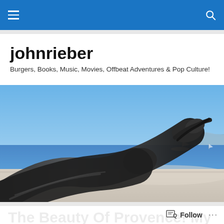johnrieber blog navigation bar
johnrieber
Burgers, Books, Music, Movies, Offbeat Adventures & Pop Culture!
[Figure (photo): Close-up photograph of what appears to be a dark metallic sculpture of a reclining figure's legs and feet, with a blue sea, a yacht, and mountains visible in the background under a clear blue sky — taken in Provence, France.]
The Beauty Of Provence! My Travel Challenge Day
Follow